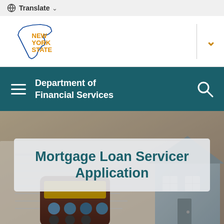Translate
[Figure (logo): New York State logo with state outline in blue and 'NEW YORK STATE' text in orange/gold]
Department of Financial Services
[Figure (photo): Background photo of mortgage application forms, a calculator, and a model house]
Mortgage Loan Servicer Application